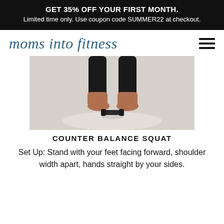GET 35% OFF YOUR FIRST MONTH. Limited time only. Use coupon code SUMMER22 at checkout.
moms into fitness
[Figure (photo): Lower legs and feet of a person standing on a light background, with a small dumbbell on the floor in front of their feet]
COUNTER BALANCE SQUAT
Set Up: Stand with your feet facing forward, shoulder width apart, hands straight by your sides.